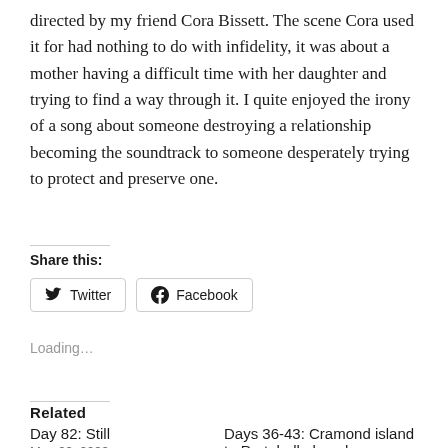directed by my friend Cora Bissett. The scene Cora used it for had nothing to do with infidelity, it was about a mother having a difficult time with her daughter and trying to find a way through it. I quite enjoyed the irony of a song about someone destroying a relationship becoming the soundtrack to someone desperately trying to protect and preserve one.
Share this:
Twitter
Facebook
Loading...
Related
Day 82: Still
Days 36-43: Cramond island to Portobello beach